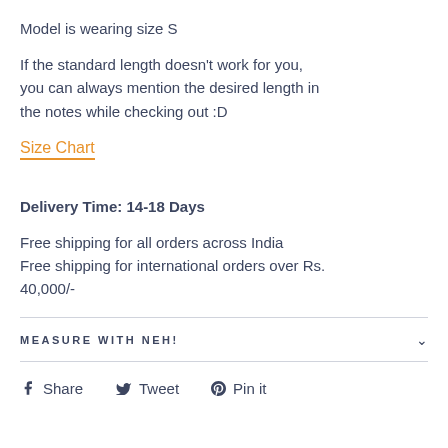Model is wearing size S
If the standard length doesn't work for you, you can always mention the desired length in the notes while checking out :D
Size Chart
Delivery Time: 14-18 Days
Free shipping for all orders across India
Free shipping for international orders over Rs. 40,000/-
MEASURE WITH NEH!
Share   Tweet   Pin it